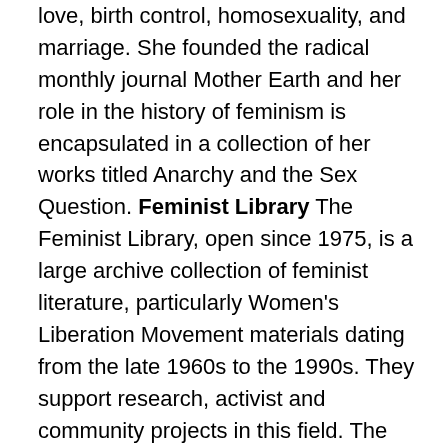love, birth control, homosexuality, and marriage. She founded the radical monthly journal Mother Earth and her role in the history of feminism is encapsulated in a collection of her works titled Anarchy and the Sex Question. Feminist Library The Feminist Library, open since 1975, is a large archive collection of feminist literature, particularly Women's Liberation Movement materials dating from the late 1960s to the 1990s. They support research, activist and community projects in this field. The Library is also an autonomous feminist community space. The Library is trans-inclusive, welcomes visitors of any gender, does not require registration or membership, and provides an intersectional, non-sectarian space for the exploration of feminism.
Greenham Common Greenham Common Women's